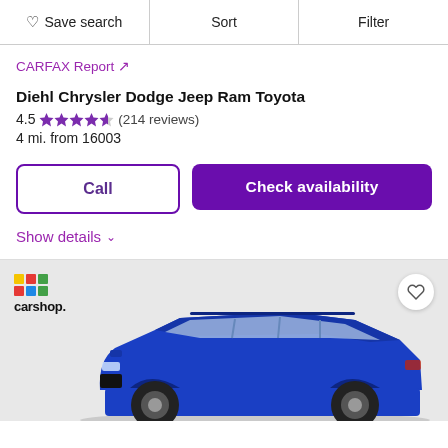Save search  Sort  Filter
CARFAX Report ↗
Diehl Chrysler Dodge Jeep Ram Toyota
4.5 ★★★★½ (214 reviews)
4 mi. from 16003
Call
Check availability
Show details ∨
[Figure (photo): Blue Jeep Compass SUV photographed from a 3/4 front angle on a grey background, with a carshop logo in the top-left corner and a heart/favorite icon in the top-right corner.]